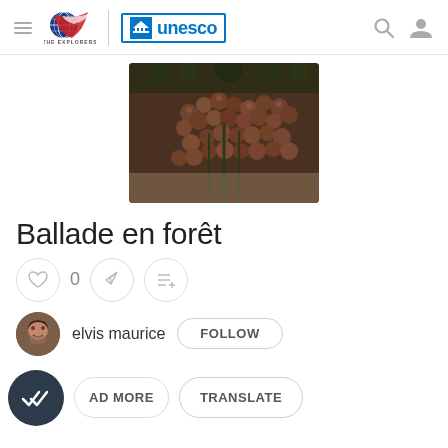THE EXPLORERS | unesco
[Figure (photo): Close-up photo of dark reddish-brown seed clusters or berries on a plant, likely forest vegetation]
Ballade en forêt
0
elvis maurice  FOLLOW
READ MORE  TRANSLATE